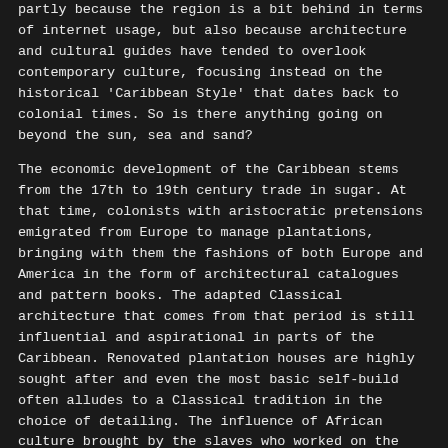partly because the region is a bit behind in terms of internet usage, but also because architecture and cultural guides have tended to overlook contemporary culture, focusing instead on the historical 'Caribbean Style' that dates back to colonial times. So is there anything going on beyond the sun, sea and sand?
The economic development of the Caribbean stems from the 17th to 19th century trade in sugar. At that time, colonists with aristocratic pretensions emigrated from Europe to manage plantations, bringing with them the fashions of both Europe and America in the form of architectural catalogues and pattern books. The adapted Classical architecture that comes from that period is still influential and aspirational in parts of the Caribbean. Renovated plantation houses are highly sought after and even the most basic self-build often alludes to a Classical tradition in the choice of detailing. The influence of African culture brought by the slaves who worked on the plantations also had a profound effect on the region, though less obviously in architectural terms than in other areas.
Today tourism has replaced sugar as the principle economic force in the region and, as in colonial times, the